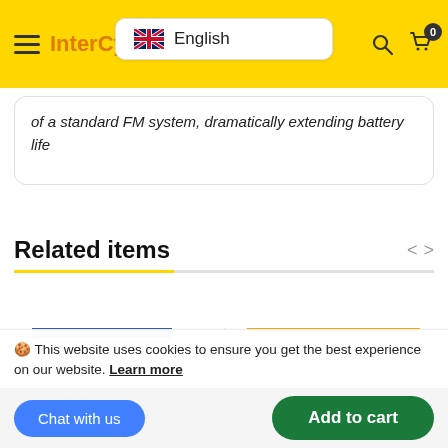InterCy — English language selector, search, cart (0)
of a standard FM system, dramatically extending battery life
Related items
[Figure (photo): Electronic circuit board with header pins visible]
[Figure (photo): Yellow battery pack labeled 6000 mAh PRO]
This website uses cookies to ensure you get the best experience on our website. Learn more
Chat with us
Add to cart